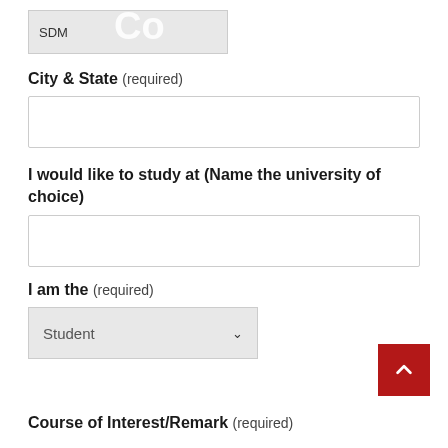[Figure (other): Partially visible form input field showing 'SDM' text and a large 'Co' watermark/placeholder in light grey background]
City & State (required)
[Figure (other): Empty text input field for City & State]
I would like to study at (Name the university of choice)
[Figure (other): Empty text input field for university name]
I am the (required)
[Figure (other): Dropdown select field showing 'Student' with down chevron]
Course of Interest/Remark (required)